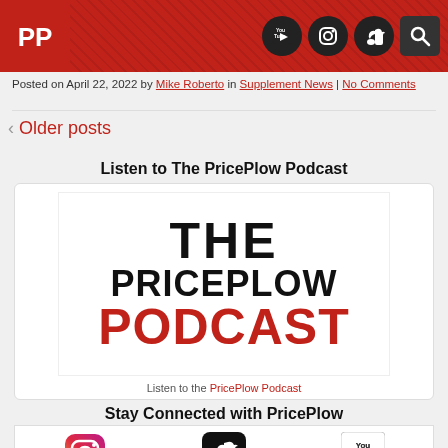[Figure (logo): PricePlow website header with red background, PP logo on left, and social media icons (YouTube, Instagram, TikTok, Search) on right]
Posted on April 22, 2022 by Mike Roberto in Supplement News | No Comments
< Older posts
Listen to The PricePlow Podcast
[Figure (illustration): The PricePlow Podcast logo image showing 'THE PRICEPLOW' in black bold text and 'PODCAST' in red bold text on white background]
Listen to the PricePlow Podcast
Stay Connected with PricePlow
[Figure (illustration): Social media icons row showing Instagram, TikTok, and YouTube icons with labels below]